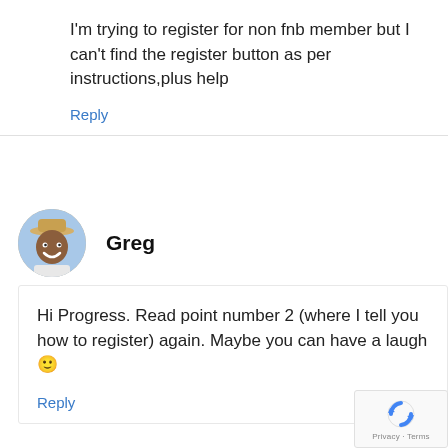I'm trying to register for non fnb member but I can't find the register button as per instructions,plus help
Reply
Greg
Hi Progress. Read point number 2 (where I tell you how to register) again. Maybe you can have a laugh 😊
Reply
[Figure (logo): reCAPTCHA badge with circular arrow icon and Privacy · Terms text]